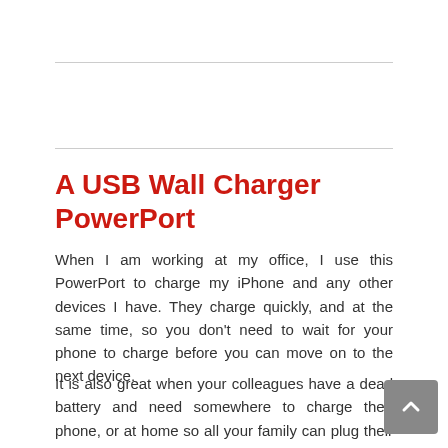A USB Wall Charger PowerPort
When I am working at my office, I use this PowerPort to charge my iPhone and any other devices I have. They charge quickly, and at the same time, so you don’t need to wait for your phone to charge before you can move on to the next device.
It is also great when your colleagues have a dead battery and need somewhere to charge their phone, or at home so all your family can plug their devices.